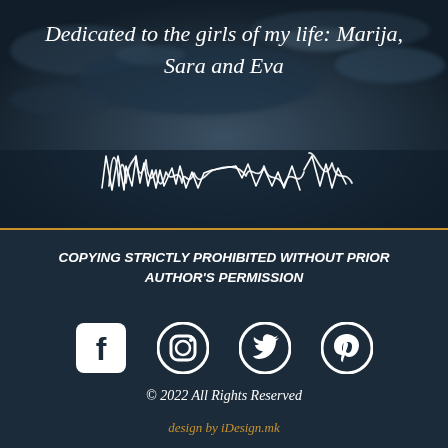[Figure (photo): Dark aerial/underwater photograph of icy water or landscape forming the background of the top section]
Dedicated to the girls of my life: Marija, Sara and Eva
[Figure (illustration): Handwritten cursive signature reading 'Milosesu Vlats' or similar stylized script in white ink]
COPYING STRICTLY PROHIBITED WITHOUT PRIOR AUTHOR'S PERMISSION
[Figure (infographic): Social media icons: Facebook, Instagram, Twitter, Pinterest in white rounded square/circle outlines]
© 2022 All Rights Reserved
design by iDesign.mk